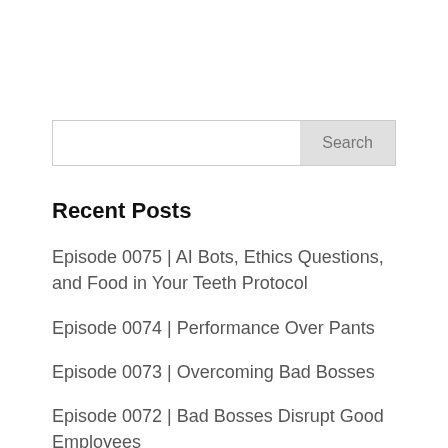Recent Posts
Episode 0075 | AI Bots, Ethics Questions, and Food in Your Teeth Protocol
Episode 0074 | Performance Over Pants
Episode 0073 | Overcoming Bad Bosses
Episode 0072 | Bad Bosses Disrupt Good Employees